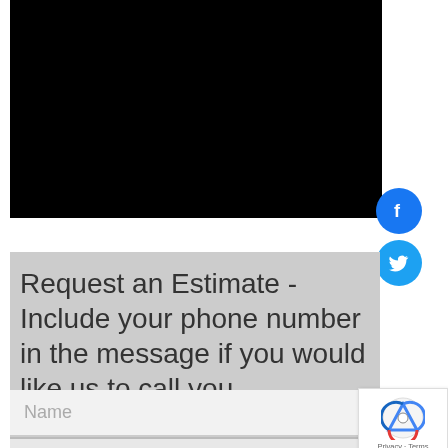[Figure (photo): Black rectangle image area at the top of the page]
Request an Estimate - Include your phone number in the message if you would like us to call you.
Name
Email Address